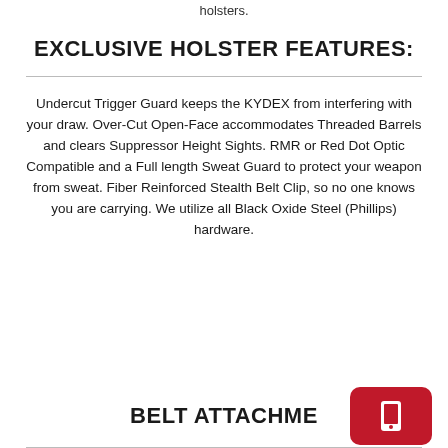holsters.
EXCLUSIVE HOLSTER FEATURES:
Undercut Trigger Guard keeps the KYDEX from interfering with your draw. Over-Cut Open-Face accommodates Threaded Barrels and clears Suppressor Height Sights. RMR or Red Dot Optic Compatible and a Full length Sweat Guard to protect your weapon from sweat. Fiber Reinforced Stealth Belt Clip, so no one knows you are carrying. We utilize all Black Oxide Steel (Phillips) hardware.
BELT ATTACHME...